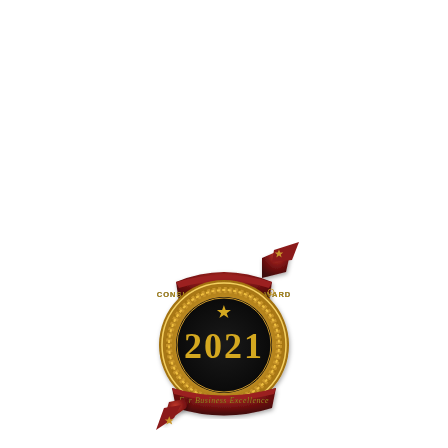[Figure (logo): Consumers' Choice Award 2021 For Business Excellence medal logo with dark-red ribbon banners, gold circular border with laurel wreath, black center with gold '2021' text and star. Text on ribbon reads 'CONSUMERS' CHOICE AWARD' and 'For Business Excellence'.]
"The Standard You Can Trust"®
Over 25 Years Promoting Business Excellence